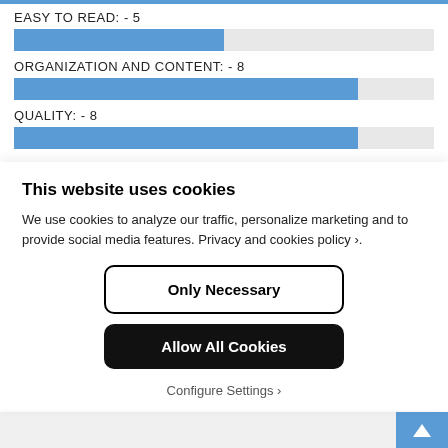[Figure (bar-chart): Ratings]
This website uses cookies
We use cookies to analyze our traffic, personalize marketing and to provide social media features. Privacy and cookies policy ›.
Only Necessary
Allow All Cookies
Configure Settings ›